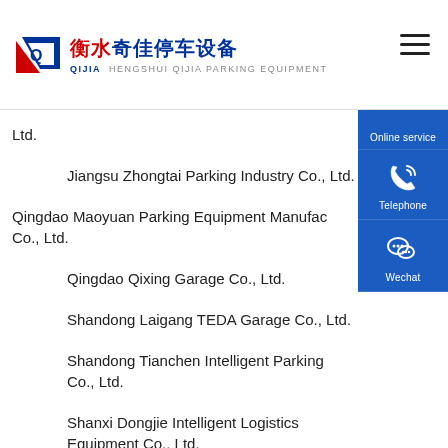衡水奇佳停车设备 QIJIA HENGSHUI QIJIA PARKING EQUIPMENT
Ltd.
Jiangsu Zhongtai Parking Industry Co., Ltd.
Qingdao Maoyuan Parking Equipment Manufacturing Co., Ltd.
Qingdao Qixing Garage Co., Ltd.
Shandong Laigang TEDA Garage Co., Ltd.
Shandong Tianchen Intelligent Parking Co., Ltd.
Shanxi Dongjie Intelligent Logistics Equipment Co., Ltd.